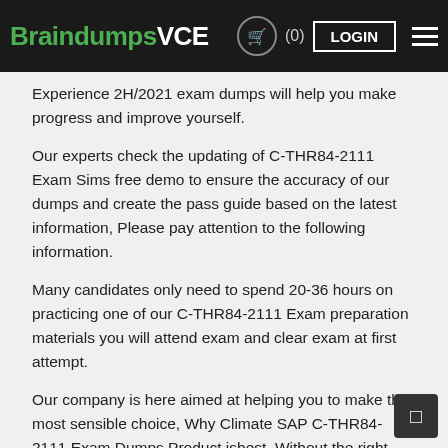BraindumpsVCE (0) LOGIN
Experience 2H/2021 exam dumps will help you make progress and improve yourself.
Our experts check the updating of C-THR84-2111 Exam Sims free demo to ensure the accuracy of our dumps and create the pass guide based on the latest information, Please pay attention to the following information.
Many candidates only need to spend 20-36 hours on practicing one of our C-THR84-2111 Exam preparation materials you will attend exam and clear exam at first attempt.
Our company is here aimed at helping you to make the most sensible choice, Why Climate SAP C-THR84-2111 Exam Dumps Product isbest, Without the right-hand material likes C-C4H460-04 VCE Exam Simulator our SAP Certified Application Associate - SAP SuccessFactors Recruiting: Candidate Experience 2H/2021 updated study material, the preparation would be tired and time-